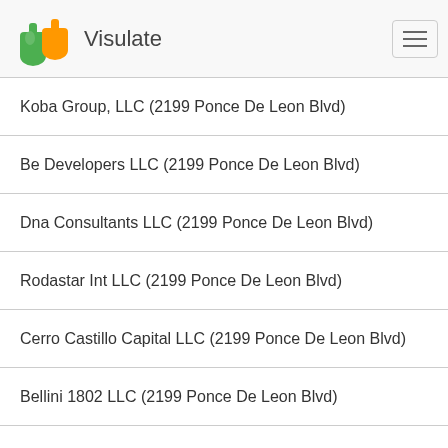Visulate
Koba Group, LLC (2199 Ponce De Leon Blvd)
Be Developers LLC (2199 Ponce De Leon Blvd)
Dna Consultants LLC (2199 Ponce De Leon Blvd)
Rodastar Int LLC (2199 Ponce De Leon Blvd)
Cerro Castillo Capital LLC (2199 Ponce De Leon Blvd)
Bellini 1802 LLC (2199 Ponce De Leon Blvd)
Alex D. Sirulnik, P.A. (2199 Ponce De Leon Blvd)
Bal Iron Corp. (2199 Ponce De Leon Blvd)
Village Shoppes Of Coconut Creek Corp. (2199 Ponce De Leon Blvd)